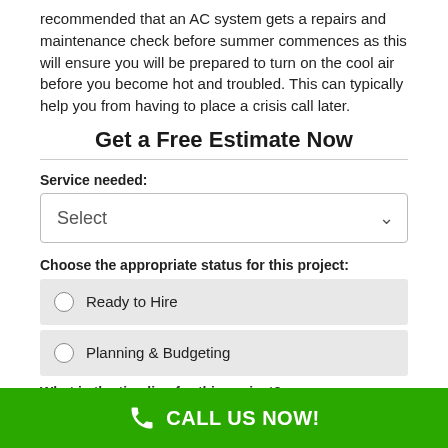recommended that an AC system gets a repairs and maintenance check before summer commences as this will ensure you will be prepared to turn on the cool air before you become hot and troubled. This can typically help you from having to place a crisis call later.
Get a Free Estimate Now
Service needed:
Select
Choose the appropriate status for this project:
Ready to Hire
Planning & Budgeting
What is the timeline for this project?
CALL US NOW!